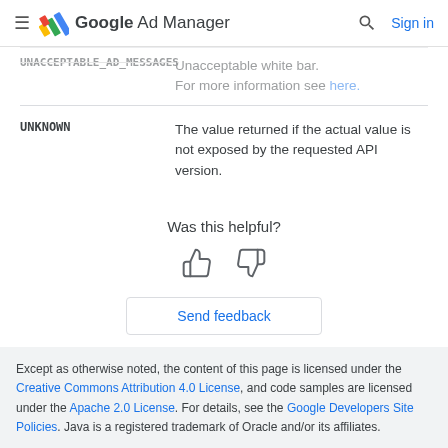Google Ad Manager
| Enumeration | Description |
| --- | --- |
| UNACCEPTABLE_AD_MESSAGES | Unacceptable white bar. For more information see here. |
| UNKNOWN | The value returned if the actual value is not exposed by the requested API version. |
Was this helpful?
[Figure (other): Thumbs up and thumbs down icons for feedback]
Send feedback
Except as otherwise noted, the content of this page is licensed under the Creative Commons Attribution 4.0 License, and code samples are licensed under the Apache 2.0 License. For details, see the Google Developers Site Policies. Java is a registered trademark of Oracle and/or its affiliates.